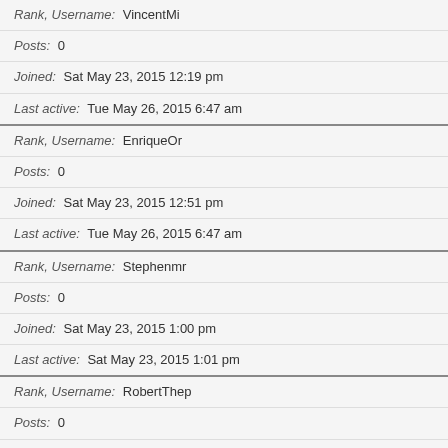Rank, Username: VincentMi
Posts: 0
Joined: Sat May 23, 2015 12:19 pm
Last active: Tue May 26, 2015 6:47 am
Rank, Username: EnriqueOr
Posts: 0
Joined: Sat May 23, 2015 12:51 pm
Last active: Tue May 26, 2015 6:47 am
Rank, Username: Stephenmr
Posts: 0
Joined: Sat May 23, 2015 1:00 pm
Last active: Sat May 23, 2015 1:01 pm
Rank, Username: RobertThep
Posts: 0
Joined: Sat May 23, 2015 1:17 pm
Last active: Wed May 27, 2015 4:23 am
Rank, Username: RobertEl
Posts: 0
Joined: Sat May 23, 2015 3:09 pm